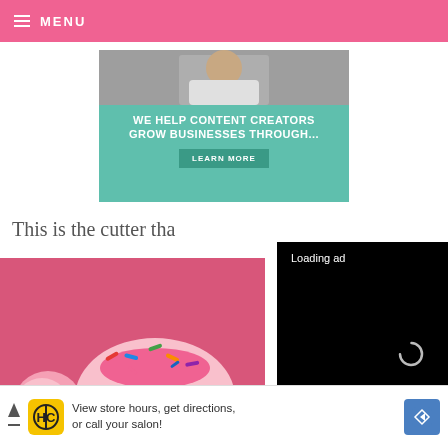MENU
[Figure (infographic): Banner advertisement with teal background: WE HELP CONTENT CREATORS GROW BUSINESSES THROUGH... with LEARN MORE button]
This is the cutter tha
[Figure (photo): Pink frosted donuts with sprinkles on a pink background]
[Figure (screenshot): Video player overlay with black background showing Loading ad text and a spinner, with pause, expand and mute controls]
X
[Figure (infographic): Bottom advertisement banner: HC logo, View store hours, get directions, or call your salon! with directions button]